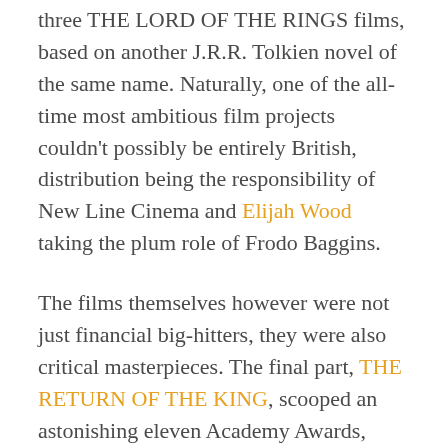three THE LORD OF THE RINGS films, based on another J.R.R. Tolkien novel of the same name. Naturally, one of the all-time most ambitious film projects couldn't possibly be entirely British, distribution being the responsibility of New Line Cinema and Elijah Wood taking the plum role of Frodo Baggins.
The films themselves however were not just financial big-hitters, they were also critical masterpieces. The final part, THE RETURN OF THE KING, scooped an astonishing eleven Academy Awards, winning every category in which it was nominated. The combination of practical effects, incredible performances, and a dedication to detail that Tolkein would have been proud of, all ensured a trilogy of features receiving the most raved about critics ever. Al...